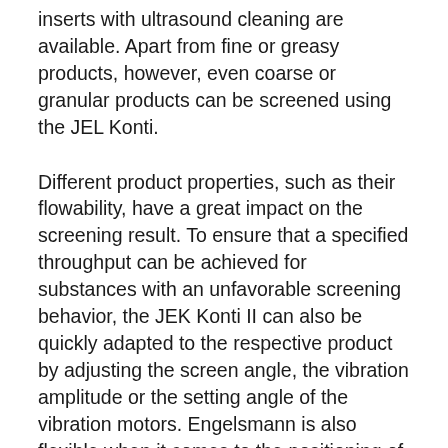inserts with ultrasound cleaning are available. Apart from fine or greasy products, however, even coarse or granular products can be screened using the JEL Konti.
Different product properties, such as their flowability, have a great impact on the screening result. To ensure that a specified throughput can be achieved for substances with an unfavorable screening behavior, the JEK Konti II can also be quickly adapted to the respective product by adjusting the screen angle, the vibration amplitude or the setting angle of the vibration motors. Engelsmann is also flexible when it comes to the positioning of the inputs and outputs of the screening machine, which means that the machine will be customized to the respective plant environment.